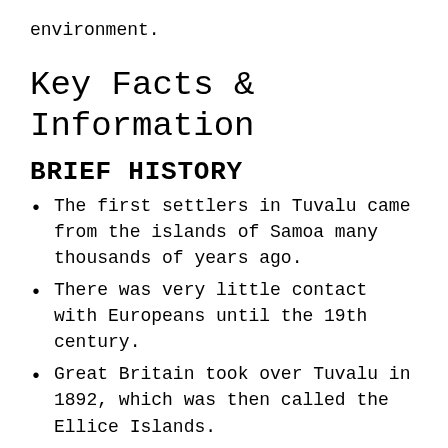environment.
Key Facts & Information
BRIEF HISTORY
The first settlers in Tuvalu came from the islands of Samoa many thousands of years ago.
There was very little contact with Europeans until the 19th century.
Great Britain took over Tuvalu in 1892, which was then called the Ellice Islands.
Britain joined the Ellice Islands with the